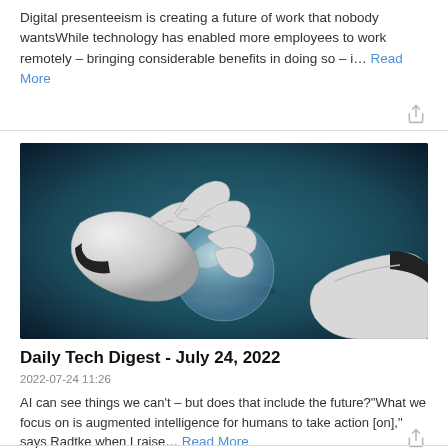Digital presenteeism is creating a future of work that nobody wantsWhile technology has enabled more employees to work remotely – bringing considerable benefits in doing so – i… Read More
[Figure (photo): Robot hands with white mechanical fingers touching a glass crystal ball against a dark teal background]
Daily Tech Digest - July 24, 2022
2022-07-24 11:26
AI can see things we can't – but does that include the future?"What we focus on is augmented intelligence for humans to take action [on]," says Radtke when I raise… Read More